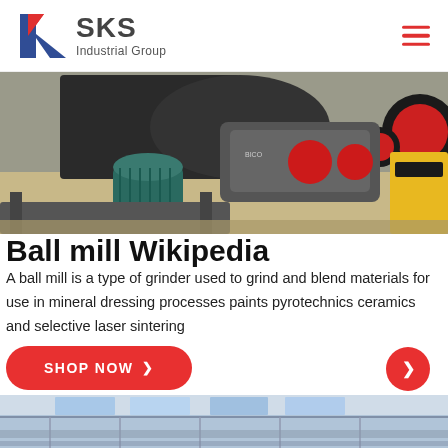[Figure (logo): SKS Industrial Group logo with red and blue K emblem]
[Figure (photo): Ball mill industrial grinding machine with electric motor, cylindrical drum, and yellow/red equipment on workshop floor]
Ball mill Wikipedia
A ball mill is a type of grinder used to grind and blend materials for use in mineral dressing processes paints pyrotechnics ceramics and selective laser sintering
[Figure (other): SHOP NOW button with arrow]
[Figure (photo): Bottom partial image showing industrial building interior with blue roof structure]